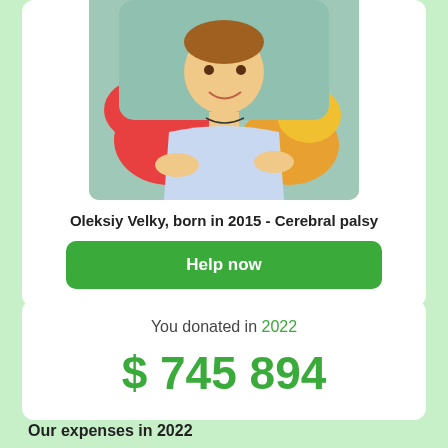[Figure (photo): Photo of a young child (Oleksiy Velky) sitting in a chair with colorful pillows, wearing a light blue tank top]
Oleksiy Velky, born in 2015 - Cerebral palsy
Help now
You donated in 2022
$ 745 894
Our expenses in 2022